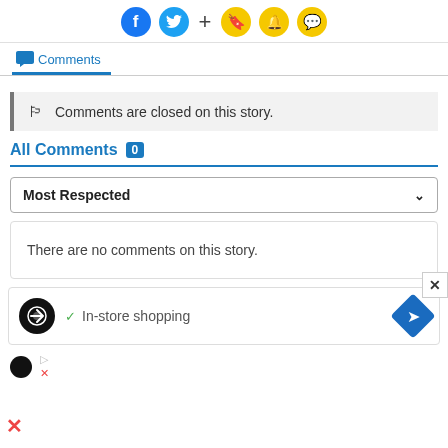[Figure (screenshot): Social media sharing toolbar with Facebook, Twitter, plus button, and yellow icon buttons (bookmark, bell, comment)]
[Figure (screenshot): Comments tab active with chat bubble icon]
Comments are closed on this story.
All Comments 0
Most Respected
There are no comments on this story.
[Figure (screenshot): Advertisement banner with circular black logo, green checkmark, In-store shopping text, and blue diamond arrow icon]
[Figure (logo): Small black circular logo and ad indicator icons at bottom left]